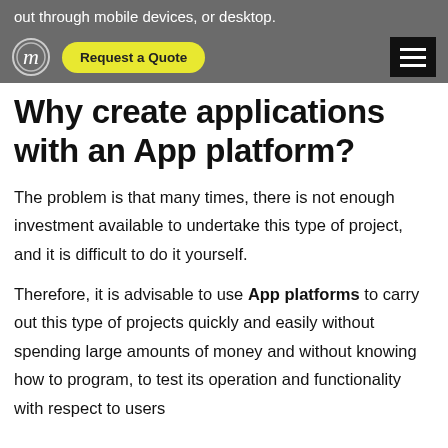out through mobile devices, or desktop.
[Figure (logo): Maketto-style 'm' logo icon in white on grey background]
Request a Quote
Why create applications with an App platform?
The problem is that many times, there is not enough investment available to undertake this type of project, and it is difficult to do it yourself.
Therefore, it is advisable to use App platforms to carry out this type of projects quickly and easily without spending large amounts of money and without knowing how to program, to test its operation and functionality with respect to users